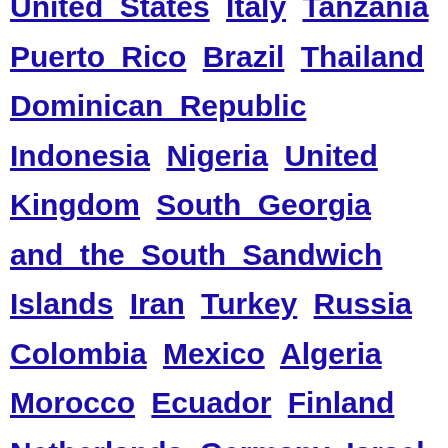United States Italy Tanzania Puerto Rico Brazil Thailand Dominican Republic Indonesia Nigeria United Kingdom South Georgia and the South Sandwich Islands Iran Turkey Russia Colombia Mexico Algeria Morocco Ecuador Finland Netherlands Germany Israel Sri Lanka Costa Rica Australia Czech Republic Japan Egypt Zimbabwe Poland Vietnam Mauritania Philippines Denmark Ethiopia Ireland Ghana Belgium Kyrgyzstan Pakistan Bosnia and Herzegovina France Uruguay Argentina Madagascar Niger Azerbaijan Kosovo Zambia Ivory Coast Switzerland Guatemala Libya Canada Haiti Bulgaria Marshall Islands Ukraine El Salvador Bangladesh Laos Iraq Slovakia Malaysia Chile Lithuania Mali Hong Kong Uzbekistan North Korea Democratic Republic of the Congo Cambodia Angola Sweden Namibia Nepal Uganda Kazakhstan Afghanistan Taiwan Cuba Belarus Central African Republic Peru Portugal Tunisia Armenia South Korea New Zealand Kuwait Guinea Gabon Romania Venezuela Kenya Macedonia Myanmar Georgia Sao Tome and Principe Togo Norway Somalia Bolivia French